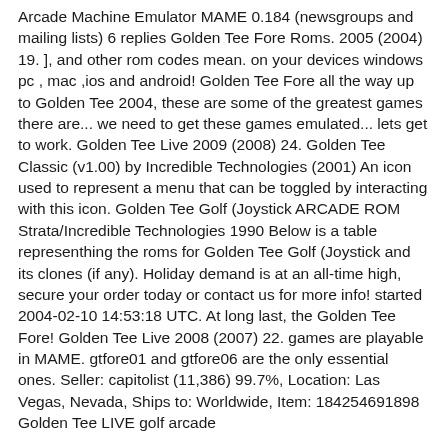Arcade Machine Emulator MAME 0.184 (newsgroups and mailing lists) 6 replies Golden Tee Fore Roms. 2005 (2004) 19. ], and other rom codes mean. on your devices windows pc , mac ,ios and android! Golden Tee Fore all the way up to Golden Tee 2004, these are some of the greatest games there are... we need to get these games emulated... lets get to work. Golden Tee Live 2009 (2008) 24. Golden Tee Classic (v1.00) by Incredible Technologies (2001) An icon used to represent a menu that can be toggled by interacting with this icon. Golden Tee Golf (Joystick ARCADE ROM Strata/Incredible Technologies 1990 Below is a table representhing the roms for Golden Tee Golf (Joystick and its clones (if any). Holiday demand is at an all-time high, secure your order today or contact us for more info! started 2004-02-10 14:53:18 UTC. At long last, the Golden Tee Fore! Golden Tee Live 2008 (2007) 22. games are playable in MAME. gtfore01 and gtfore06 are the only essential ones. Seller: capitolist (11,386) 99.7%, Location: Las Vegas, Nevada, Ships to: Worldwide, Item: 184254691898 Golden Tee LIVE golf arcade